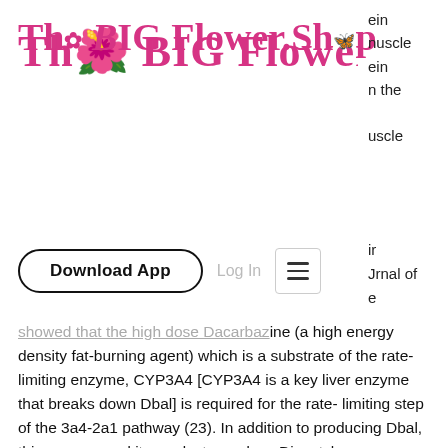[Figure (logo): The BIG Flower.Shop logo in pink/magenta decorative serif font with small butterfly/flower icons]
ein
nuscle
ein
n the

uscle
ir
Jrnal of
e
Download App   Log In   ☰
showed that the high dose Dacarbazine (a high energy density fat-burning agent) which is a substrate of the rate-limiting enzyme, CYP3A4 [CYP3A4 is a key liver enzyme that breaks down Dbal] is required for the rate-limiting step of the 3a4-2a1 pathway (23). In addition to producing Dbal, this enzyme and its products produce Diacetyl, a precursor to Dbal. The two enzymes are linked and can be activated to yield a product that